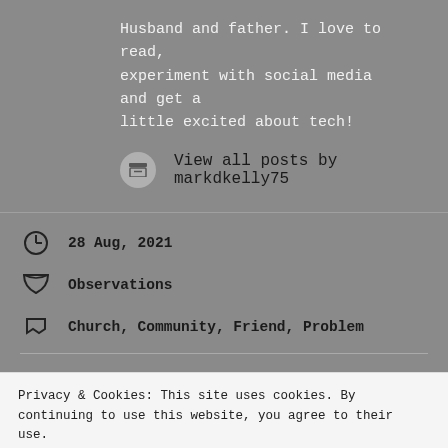Husband and father. I love to read, experiment with social media and get a little excited about tech!
View all posts by markdkelly75
28 Aug, 2021
Observations
Church, Community, Friend, Problem
Privacy & Cookies: This site uses cookies. By continuing to use this website, you agree to their use.
To find out more, including how to control cookies, see here: Cookie Policy
Close and accept
Leave a Reply